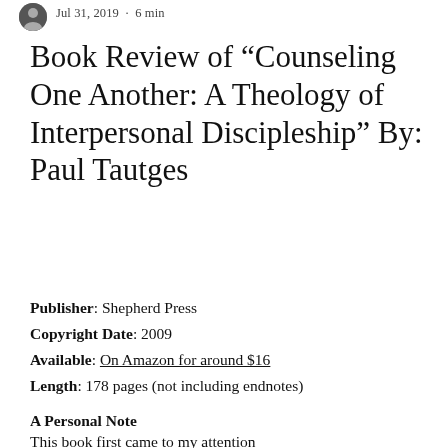Jul 31, 2019 · 6 min
Book Review of “Counseling One Another: A Theology of Interpersonal Discipleship” By: Paul Tautges
Publisher: Shepherd Press
Copyright Date: 2009
Available: On Amazon for around $16
Length: 178 pages (not including endnotes)
A Personal Note
This book first came to my attention